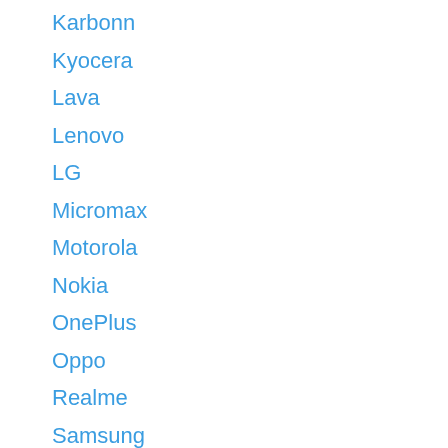Karbonn
Kyocera
Lava
Lenovo
LG
Micromax
Motorola
Nokia
OnePlus
Oppo
Realme
Samsung
T-Mobile
Vivo